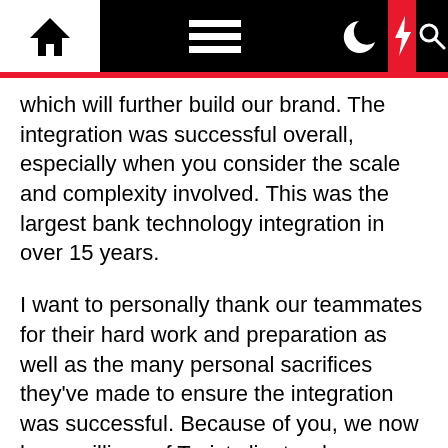[Navigation bar with home, menu, moon, flash, and search icons]
which will further build our brand. The integration was successful overall, especially when you consider the scale and complexity involved. This was the largest bank technology integration in over 15 years.
I want to personally thank our teammates for their hard work and preparation as well as the many personal sacrifices they've made to ensure the integration was successful. Because of you, we now have millions of Truist clients who are absolutely pleased with their experience. At the same time, it's also impossible to execute an integration of this magnitude perfectly.
We acknowledge there were some opportunities to improve along the way. Our teams did an incredible job in resolving client challenges with urgency and a